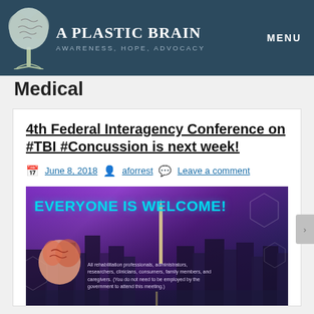A PLASTIC BRAIN — AWARENESS, HOPE, ADVOCACY | MENU
Medical
4th Federal Interagency Conference on #TBI #Concussion is next week!
June 8, 2018  aforrest  Leave a comment
[Figure (photo): Promotional event banner reading 'EVERYONE IS WELCOME!' with a cityscape background, brain imagery, and text: 'All rehabilitation professionals, administrators, researchers, clinicians, consumers, family members, and caregivers. (You do not need to be employed by the government to attend this meeting.)']